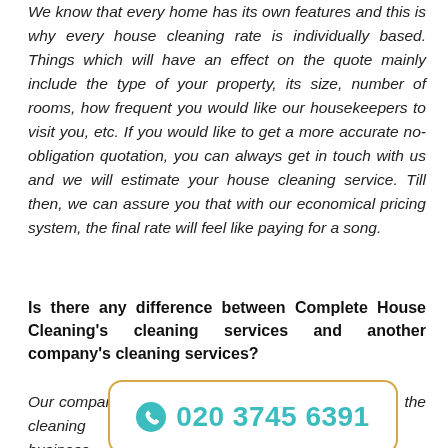We know that every home has its own features and this is why every house cleaning rate is individually based. Things which will have an effect on the quote mainly include the type of your property, its size, number of rooms, how frequent you would like our housekeepers to visit you, etc. If you would like to get a more accurate no-obligation quotation, you can always get in touch with us and we will estimate your house cleaning service. Till then, we can assure you that with our economical pricing system, the final rate will feel like paying for a song.
Is there any difference between Complete House Cleaning's cleaning services and another company's cleaning services?
Our company ... the cleaning business. ... powers and knowledge is the house cleaning services. This is what
[Figure (other): Phone number call button: 020 3745 6391 in teal color with phone icon, inside a rounded rectangle border in golden/amber color]